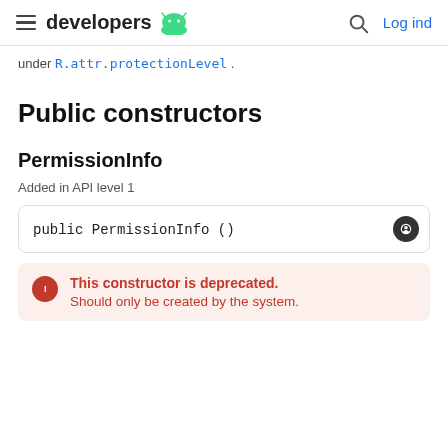developers | Log ind
under R.attr.protectionLevel .
Public constructors
PermissionInfo
Added in API level 1
public PermissionInfo ()
This constructor is deprecated. Should only be created by the system.